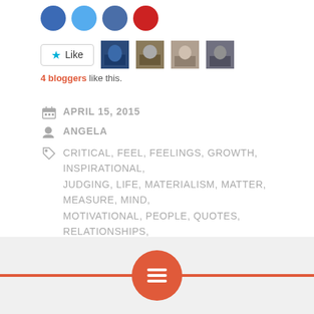[Figure (other): Row of four colored social media circle icons (blue Facebook, light blue Twitter, dark blue LinkedIn, red Pinterest) cropped at top]
[Figure (other): Like button with star icon and four blogger avatar thumbnails]
4 bloggers like this.
APRIL 15, 2015
ANGELA
CRITICAL, FEEL, FEELINGS, GROWTH, INSPIRATIONAL, JUDGING, LIFE, MATERIALISM, MATTER, MEASURE, MIND, MOTIVATIONAL, PEOPLE, QUOTES, RELATIONSHIPS, SUCCESS, WORDS
LEAVE A COMMENT
[Figure (other): Footer bar with light gray background, horizontal coral/red line, and coral circle with hamburger menu lines icon]